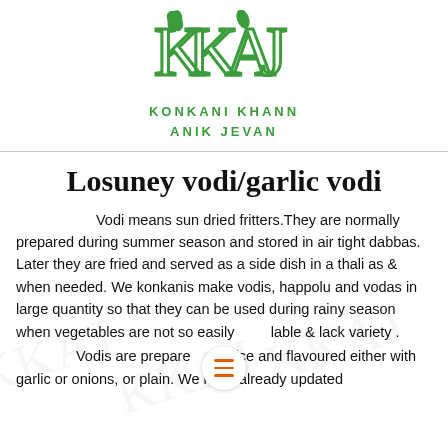[Figure (logo): KKAJ logo - stylized letters K, K, A, J with green leaf motifs, above the text KONKANI KHANN ANIK JEVAN in green]
Losuney vodi/garlic vodi
Vodi means sun dried fritters.They are normally prepared during summer season and stored in air tight dabbas. Later they are fried and served as a side dish in a thali as & when needed. We konkanis make vodis, happolu and vodas in large quantity so that they can be used during rainy season when vegetables are not so easily available & lack variety . Vodis are prepared on rice and flavoured either with garlic or onions, or plain. We have already updated